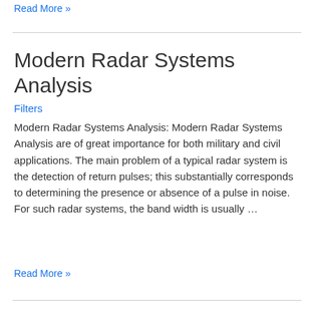Read More »
Modern Radar Systems Analysis
Filters
Modern Radar Systems Analysis: Modern Radar Systems Analysis are of great importance for both military and civil applications. The main problem of a typical radar system is the detection of return pulses; this substantially corresponds to determining the presence or absence of a pulse in noise. For such radar systems, the band width is usually …
Read More »